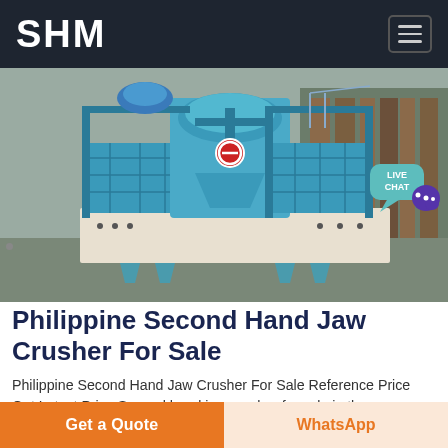SHM
[Figure (photo): Large industrial blue jaw crusher / VSI sand-making machine on a white/cream platform, viewed from the front in a warehouse setting.]
Philippine Second Hand Jaw Crusher For Sale
Philippine Second Hand Jaw Crusher For Sale Reference Price Get Latest Price Second hand jaw crusher for sale in the philippines jaw crushers for sale
Get a Quote
WhatsApp